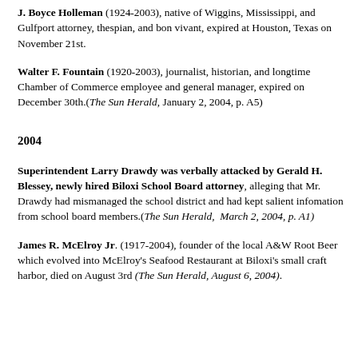J. Boyce Holleman (1924-2003), native of Wiggins, Mississippi, and Gulfport attorney, thespian, and bon vivant, expired at Houston, Texas on November 21st.
Walter F. Fountain (1920-2003), journalist, historian, and longtime Chamber of Commerce employee and general manager, expired on December 30th.(The Sun Herald, January 2, 2004, p. A5)
2004
Superintendent Larry Drawdy was verbally attacked by Gerald H. Blessey, newly hired Biloxi School Board attorney, alleging that Mr. Drawdy had mismanaged the school district and had kept salient infomation from school board members.(The Sun Herald, March 2, 2004, p. A1)
James R. McElroy Jr. (1917-2004), founder of the local A&W Root Beer which evolved into McElroy's Seafood Restaurant at Biloxi's small craft harbor, died on August 3rd (The Sun Herald, August 6, 2004).